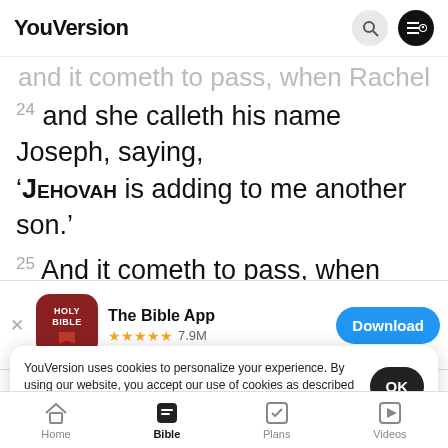YouVersion
24 and she calleth his name Joseph, saying, ‘Jehovah is adding to me another son.’
25 And it cometh to pass, when Rachel hath borne Joseph, that Jacob saith unto Laban, ‘Send
[Figure (screenshot): App download banner for The Bible App with red icon, 5 stars, 7.9M ratings, and Download button]
YouVersion uses cookies to personalize your experience. By using our website, you accept our use of cookies as described in our Privacy Policy.
Home | Bible | Plans | Videos